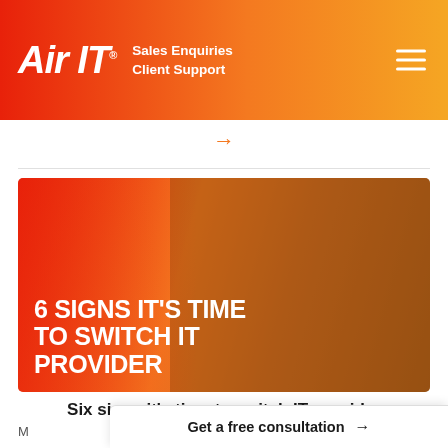Air IT · Sales Enquiries · Client Support
[Figure (photo): Hero image showing a woman gesturing in frustration at a laptop, overlaid with orange-red gradient and bold white text reading '6 SIGNS IT'S TIME TO SWITCH IT PROVIDER']
Six signs it's time to switch IT provider
M…
Get a free consultation →